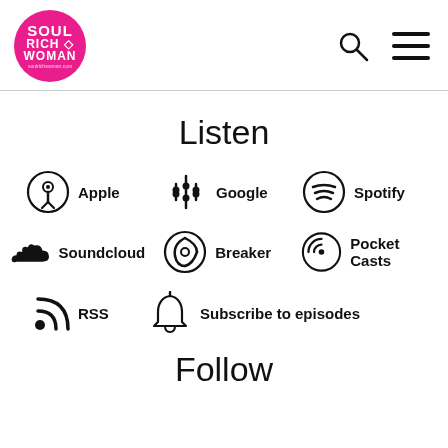[Figure (logo): Soul Rich Woman circular pink logo with search and hamburger menu icons in header]
Listen
Apple
Google
Spotify
Soundcloud
Breaker
Pocket Casts
RSS
Subscribe to episodes
Follow